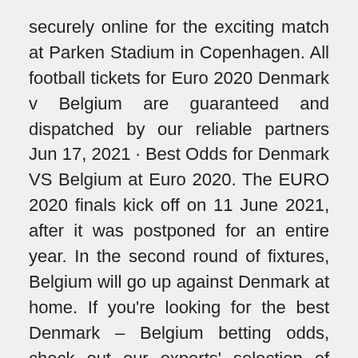securely online for the exciting match at Parken Stadium in Copenhagen. All football tickets for Euro 2020 Denmark v Belgium are guaranteed and dispatched by our reliable partners Jun 17, 2021 · Best Odds for Denmark VS Belgium at Euro 2020. The EURO 2020 finals kick off on 11 June 2021, after it was postponed for an entire year. In the second round of fixtures, Belgium will go up against Denmark at home. If you're looking for the best Denmark – Belgium betting odds, check out our experts' selection of renowned bookmakers Sep 04, 2020 · Verdict: Belgium win Best Odds: 4/5 Bookmaker: Unibet Looking to open their Nations League campaign with three points on Saturday night, Belgium will make the trip to Denmark this weekend.